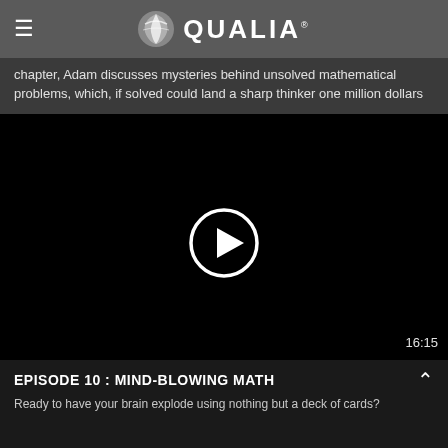QUALIA
chapter, Adam discusses mysteries behind unsolved mathematical problems, which, if solved could land a sharp thinker one million dollars
[Figure (screenshot): Black video player area with a circular white play button icon in the center and a timestamp '16:15' in the bottom right corner]
EPISODE 10 : MIND-BLOWING MATH
Ready to have your brain explode using nothing but a deck of cards?